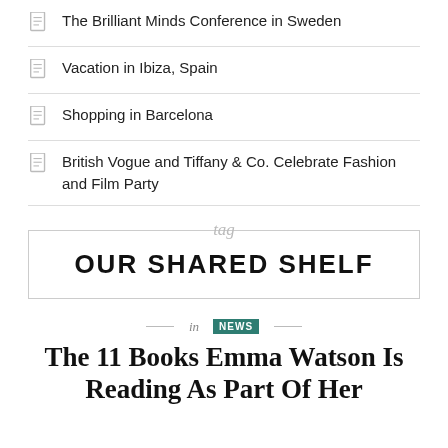The Brilliant Minds Conference in Sweden
Vacation in Ibiza, Spain
Shopping in Barcelona
British Vogue and Tiffany & Co. Celebrate Fashion and Film Party
tag OUR SHARED SHELF
in NEWS
The 11 Books Emma Watson Is Reading As Part Of Her